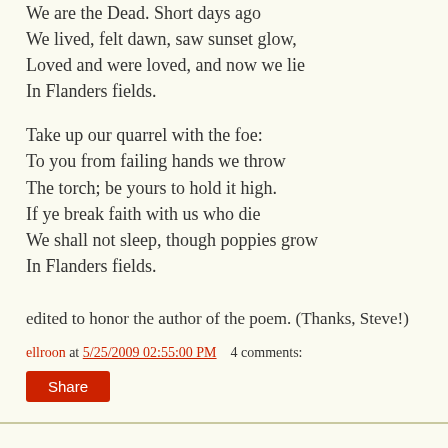We are the Dead. Short days ago
We lived, felt dawn, saw sunset glow,
Loved and were loved, and now we lie
In Flanders fields.
Take up our quarrel with the foe:
To you from failing hands we throw
The torch; be yours to hold it high.
If ye break faith with us who die
We shall not sleep, though poppies grow
In Flanders fields.
edited to honor the author of the poem. (Thanks, Steve!)
ellroon at 5/25/2009 02:55:00 PM    4 comments:
Share
A wingnuttered male speaks out
About marriage and why gays threaten it. You'll need a drink